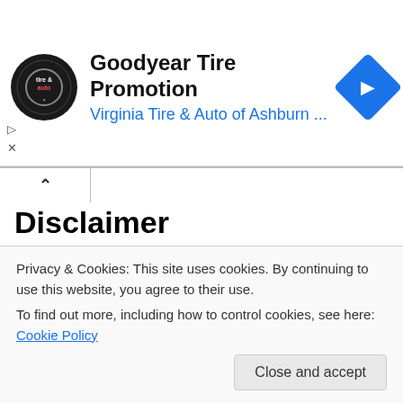[Figure (infographic): Advertisement banner: Goodyear Tire Promotion by Virginia Tire & Auto of Ashburn with circular logo and blue diamond arrow icon]
Disclaimer
We do not diagnose or treat any condition. This site is for informational purposes only. Any diagnosis or treatment should come from properly trained professionals from non-traditional or traditional medicine." We are a Synergy WorldWide Independent Distributor. The information on this site and web pages are not intended to be taken as medical advice. Do not alter or discontinue medical treatment or use of medications without first consulting with a health care provider. You use this information at your own risk. Always seek the advice of your physician or other qualified health care provider.
Privacy & Cookies: This site uses cookies. By continuing to use this website, you agree to their use.
To find out more, including how to control cookies, see here: Cookie Policy